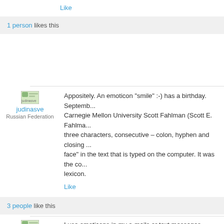Like
1 person likes this
[Figure (illustration): Avatar icon for user judinasve]
judinasve
Russian Federation
Appositely. An emoticon “smile” :-) has a birthday. Septemb... Carnegie Mellon University Scott Fahlman (Scott E. Fahlma... three characters, consecutive – colon, hyphen and closing ... face” in the text that is typed on the computer. It was the co... lexicon.
Like
3 people like this
[Figure (illustration): Avatar icon for user judinasve]
judinasve
Russian Federation
I use emoticons in my e-mails or text messages. Talking fac... expressions on companion’s face. But text messages are i... sometime, you joked but your companion was in bad mood... and didn’t understand you. Using emoticons helps to give m... more expressive. Of course emoticons are unacceptable fo... As for the messages to colleagues or boss, emoticons usin... But anyway emoticons shouldn’t be too many. By the way. My daughter teenager argue against using...